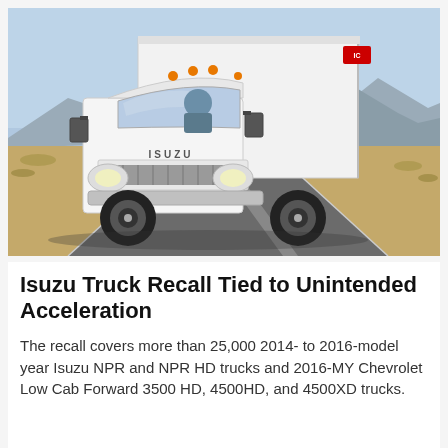[Figure (photo): Front view of a white Isuzu box truck driving on a road with mountains and desert landscape in the background. The truck is labeled ISUZU on the front.]
Isuzu Truck Recall Tied to Unintended Acceleration
The recall covers more than 25,000 2014- to 2016-model year Isuzu NPR and NPR HD trucks and 2016-MY Chevrolet Low Cab Forward 3500 HD, 4500HD, and 4500XD trucks.